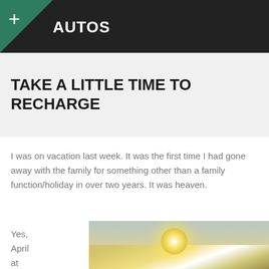AUTOS
TAKE A LITTLE TIME TO RECHARGE
I was on vacation last week. It was the first time I had gone away with the family for something other than a family function/holiday in over two years. It was heaven.
Yes, April at the
[Figure (photo): Outdoor sky photo showing sun glowing through hazy sky, warm golden tones]